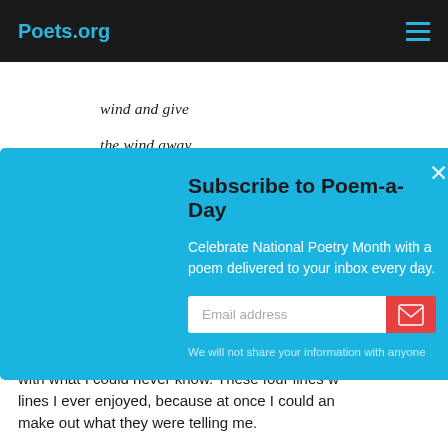Poets.org
wind and give

the wind away
Subscribe to Poem-a-Day
Celebrate National Poetry Month with a poem delivered to your inbox every day.
Email address
We will not share your information with anyone
a-day
with what I could never know. These four lines w lines I ever enjoyed, because at once I could an make out what they were telling me.